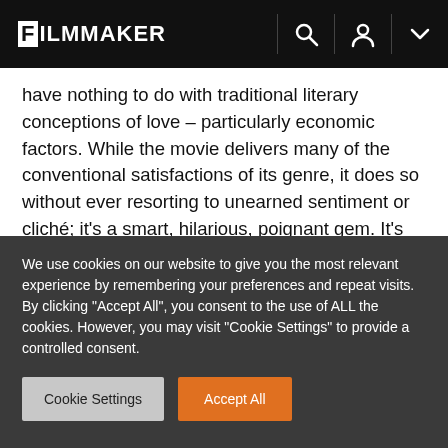FILMMAKER
have nothing to do with traditional literary conceptions of love – particularly economic factors. While the movie delivers many of the conventional satisfactions of its genre, it does so without ever resorting to unearned sentiment or cliché; it's a smart, hilarious, poignant gem. It's one of several recent Warner Archive editions of holiday classics; they've also released new pressings of It Happened on 5th Avenue and Ernst Lubitsch's The Shop Around the Corner, both of which, like Holiday Affair, are
We use cookies on our website to give you the most relevant experience by remembering your preferences and repeat visits. By clicking "Accept All", you consent to the use of ALL the cookies. However, you may visit "Cookie Settings" to provide a controlled consent.
Cookie Settings
Accept All